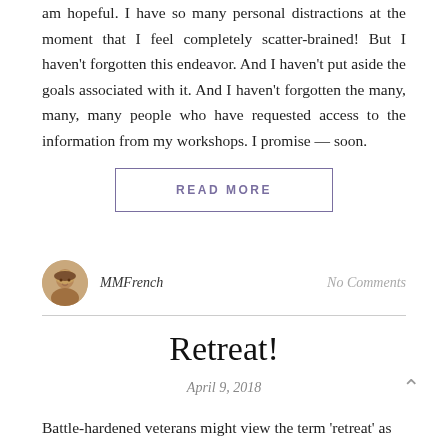am hopeful. I have so many personal distractions at the moment that I feel completely scatter-brained! But I haven't forgotten this endeavor. And I haven't put aside the goals associated with it. And I haven't forgotten the many, many, many people who have requested access to the information from my workshops. I promise — soon.
READ MORE
[Figure (photo): Circular avatar photo of MMFrench, a woman with short hair]
MMFrench
No Comments
Retreat!
April 9, 2018
Battle-hardened veterans might view the term 'retreat' as